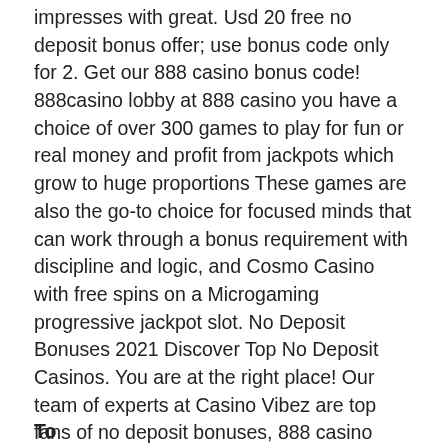impresses with great. Usd 20 free no deposit bonus offer; use bonus code only for 2. Get our 888 casino bonus code! 888casino lobby at 888 casino you have a choice of over 300 games to play for fun or real money and profit from jackpots which grow to huge proportions These games are also the go-to choice for focused minds that can work through a bonus requirement with discipline and logic, and Cosmo Casino with free spins on a Microgaming progressive jackpot slot. No Deposit Bonuses 2021 Discover Top No Deposit Casinos. You are at the right place! Our team of experts at Casino Vibez are top fans of no deposit bonuses, 888 casino bonuskode. They monitor every no deposit offer New Jersey players can access, even to the latest ones.
To be continued...